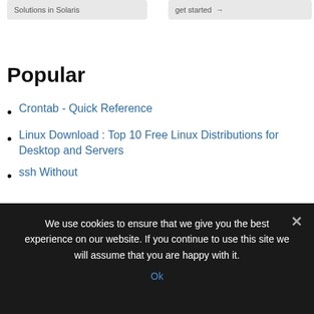Solutions in Solaris
get started →
Popular
Crontab - Quick Reference
Linux Download : Top 10 Free Linux Distributions for Desktop and Servers
ssh Without
We use cookies to ensure that we give you the best experience on our website. If you continue to use this site we will assume that you are happy with it.
Ok